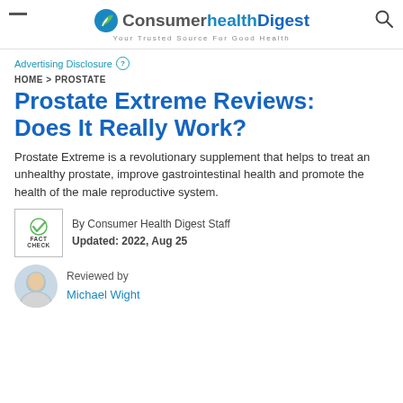ConsumerHealthDigest — Your Trusted Source For Good Health
Advertising Disclosure ℹ
HOME > PROSTATE
Prostate Extreme Reviews: Does It Really Work?
Prostate Extreme is a revolutionary supplement that helps to treat an unhealthy prostate, improve gastrointestinal health and promote the health of the male reproductive system.
By Consumer Health Digest Staff
Updated: 2022, Aug 25
Reviewed by
Michael Wight